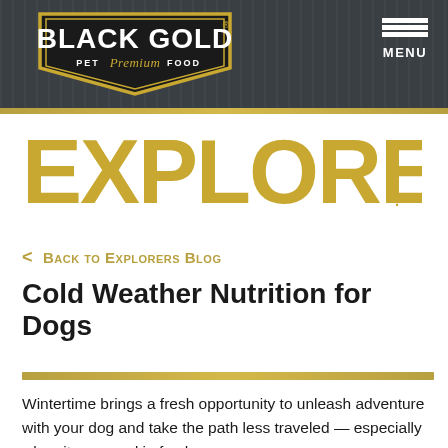[Figure (logo): Black Gold Pet Premium Food logo — black shield/badge shape with gold border, white bold text 'BLACK GOLD', gold script 'Premium', white text 'PET FOOD']
MENU
EXPLORER.
< Back to Explorers Blog
Cold Weather Nutrition for Dogs
Wintertime brings a fresh opportunity to unleash adventure with your dog and take the path less traveled — especially when its covered in fresh snow.